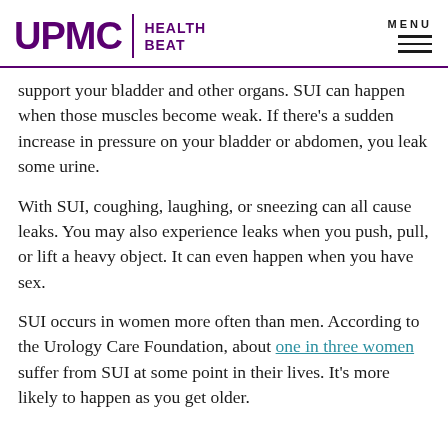UPMC HEALTH BEAT
support your bladder and other organs. SUI can happen when those muscles become weak. If there's a sudden increase in pressure on your bladder or abdomen, you leak some urine.
With SUI, coughing, laughing, or sneezing can all cause leaks. You may also experience leaks when you push, pull, or lift a heavy object. It can even happen when you have sex.
SUI occurs in women more often than men. According to the Urology Care Foundation, about one in three women suffer from SUI at some point in their lives. It's more likely to happen as you get older.